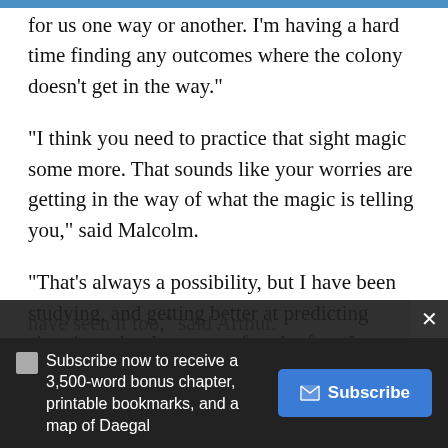for us one way or another. I'm having a hard time finding any outcomes where the colony doesn't get in the way."
"I think you need to practice that sight magic some more. That sounds like your worries are getting in the way of what the magic is telling you," said Malcolm.
"That's always a possibility, but I have been studying, and getting better at predicting situations that I can test after the fact. I am improving, and I don't think this is just my imagination. The others have seen it too," said Arthur.
Subscribe now to receive a 3,500-word bonus chapter, printable bookmarks, and a map of Daegal